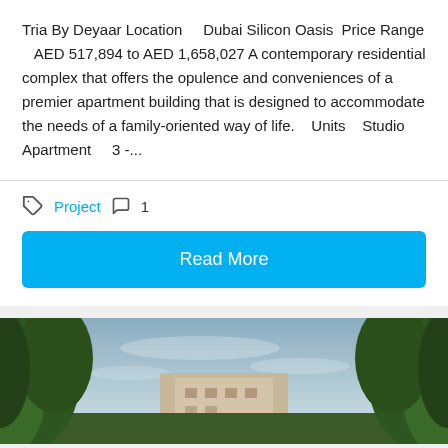Tria By Deyaar Location     Dubai Silicon Oasis  Price Range     AED 517,894 to AED 1,658,027 A contemporary residential complex that offers the opulence and conveniences of a premier apartment building that is designed to accommodate the needs of a family-oriented way of life.     Units     Studio Apartment      3 -...
Project  1
Read More
[Figure (photo): Exterior photo of a residential building with trees on both sides against a cloudy sky]